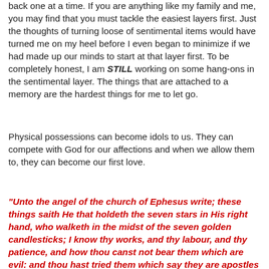back one at a time.  If you are anything like my family and me, you may find that you must tackle the easiest layers first.  Just the thoughts of turning loose of sentimental items would have turned me on my heel before I even began to minimize if we had made up our minds to start at that layer first.  To be completely honest, I am STILL working on some hang-ons in the sentimental layer.  The things that are attached to a memory are the hardest things for me to let go.
Physical possessions can become idols to us.  They can compete with God for our affections and when we allow them to, they can become our first love.
"Unto the angel of the church of Ephesus write; these things saith He that holdeth the seven stars in His right hand, who walketh in the midst of the seven golden candlesticks; I know thy works, and thy labour, and thy patience, and how thou canst not bear them which are evil: and thou hast tried them which say they are apostles and are not, and hast found them, liars, and hast borne, and hast patience, and for My name's sake hast laboured, and hast not fainted.  Nevertheless, I have somewhat against thee, because thou hast left th